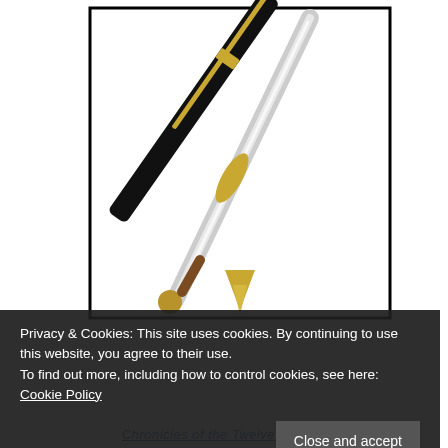[Figure (logo): BlogBattle logo: a crossed pen (black fountain pen) and sword (silver medieval sword) inside a rectangular border, with '#BlogBattle' text rotated vertically on the right side in large sans-serif font]
Privacy & Cookies: This site uses cookies. By continuing to use this website, you agree to their use.
To find out more, including how to control cookies, see here: Cookie Policy
Close and accept
Chronicles of the Twelve Realms